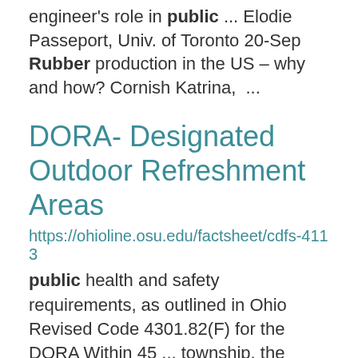engineer's role in public ... Elodie Passeport, Univ. of Toronto 20-Sep Rubber production in the US – why and how? Cornish Katrina, ...
DORA- Designated Outdoor Refreshment Areas
https://ohioline.osu.edu/factsheet/cdfs-4113
public health and safety requirements, as outlined in Ohio Revised Code 4301.82(F) for the DORA Within 45 ... township, the legislative authority shall: publish public notice of the application in one newspaper of ... by the public during regular business hours indicate in the notice the date and